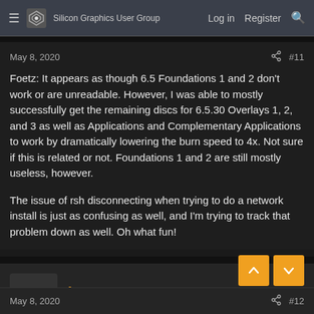Silicon Graphics User Group — Log in  Register
May 8, 2020   #11
Foetz: It appears as though 6.5 Foundations 1 and 2 don't work or are unreadable. However, I was able to mostly successfully get the remaining discs for 6.5.30 Overlays 1, 2, and 3 as well as Applications and Complementary Applications to work by dramatically lowering the burn speed to 4x. Not sure if this is related or not. Foundations 1 and 2 are still mostly useless, however.

The issue of rsh disconnecting when trying to do a network install is just as confusing as well, and I'm trying to track that problem down as well. Oh what fun!
foetz
Member
May 8, 2020   #12